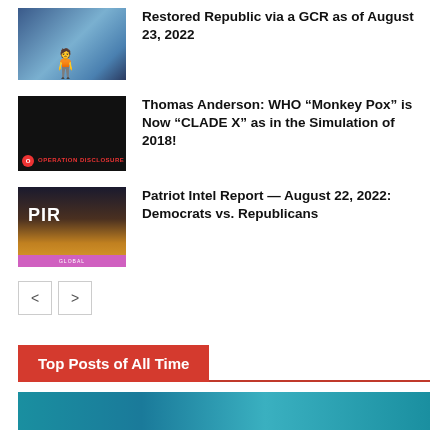[Figure (photo): Thumbnail image for 'Restored Republic via a GCR as of August 23, 2022' article]
Restored Republic via a GCR as of August 23, 2022
[Figure (photo): Operation Disclosure logo/thumbnail for Thomas Anderson WHO Monkey Pox article]
Thomas Anderson: WHO “Monkey Pox” is Now “CLADE X” as in the Simulation of 2018!
[Figure (photo): PIR (Patriot Intel Report) thumbnail image]
Patriot Intel Report — August 22, 2022: Democrats vs. Republicans
Top Posts of All Time
[Figure (photo): Bottom thumbnail image strip]